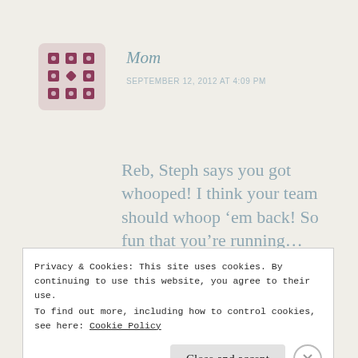[Figure (illustration): Purple/mauve decorative grid icon used as user avatar]
Mom
SEPTEMBER 12, 2012 AT 4:09 PM
Reb, Steph says you got whooped! I think your team should whoop ‘em back! So fun that you’re running… can’t imagine any better scenery anywhere!
Privacy & Cookies: This site uses cookies. By continuing to use this website, you agree to their use. To find out more, including how to control cookies, see here: Cookie Policy
Close and accept